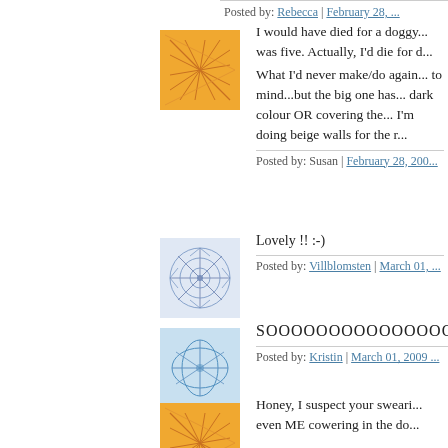Posted by: Rebecca | February 28, ...
I would have died for a doggy... was five. Actually, I'd die for d...
What I'd never make/do again... to mind...but the big one has... dark colour OR covering the... I'm doing beige walls for the r...
Posted by: Susan | February 28, 200...
Lovely !! :-)
Posted by: Villblomsten | March 01, ...
SOOOOOOOOOOOOOOO...
Posted by: Kristin | March 01, 2009 ...
Honey, I suspect your sweari... even ME cowering in the do...